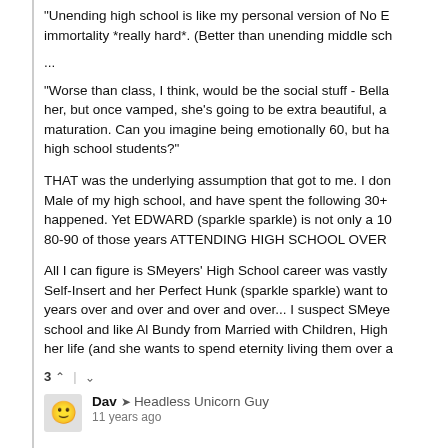"Unending high school is like my personal version of No E... immortality *really hard*. (Better than unending middle sch...
...
"Worse than class, I think, would be the social stuff - Bella her, but once vamped, she's going to be extra beautiful, a maturation. Can you imagine being emotionally 60, but ha high school students?"
THAT was the underlying assumption that got to me. I don Male of my high school, and have spent the following 30+ happened. Yet EDWARD (sparkle sparkle) is not only a 10 80-90 of those years ATTENDING HIGH SCHOOL OVER
All I can figure is SMeyers' High School career was vastly Self-Insert and her Perfect Hunk (sparkle sparkle) want to years over and over and over and over... I suspect SMeye school and like Al Bundy from Married with Children, High her life (and she wants to spend eternity living them over a
3 ^ | v
Dav → Headless Unicorn Guy
11 years ago